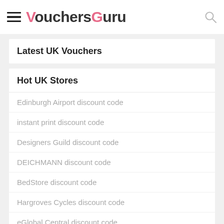VouchersGuru
Latest UK Vouchers
Hot UK Stores
Edinburgh Airport discount code
instant print discount code
Designers Guild discount code
DEICHMANN discount code
BedStore discount code
Hargroves Cycles discount code
eGlobal Central discount code
IceLolly discount code
Dents discount code